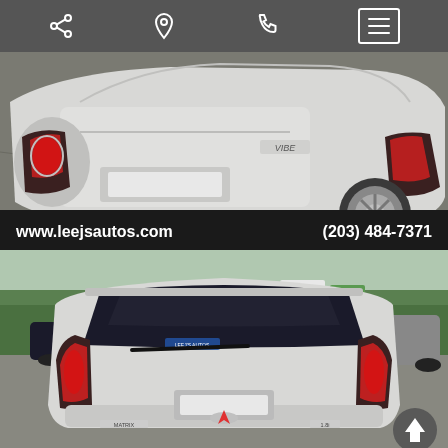[Toolbar with share, location, phone, and menu icons]
[Figure (photo): Rear three-quarter view of a silver Pontiac Vibe showing the trunk, taillights, and rear wheel on a parking lot surface. Black watermark bar at the bottom reads: www.leejsautos.com and (203) 484-7371]
[Figure (photo): Direct rear view of a silver Pontiac Vibe hatchback in a dealer lot with trees and other cars in background. Pontiac logo visible on rear. Dealer sticker visible on bottom of rear window.]